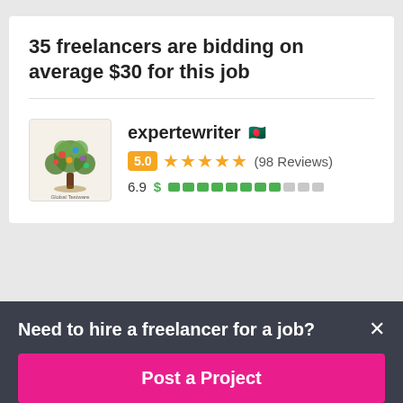35 freelancers are bidding on average $30 for this job
expertewriter 🇧🇩
5.0 ★★★★★ (98 Reviews)
6.9 $ ████████░░░
Need to hire a freelancer for a job?
Post a Project